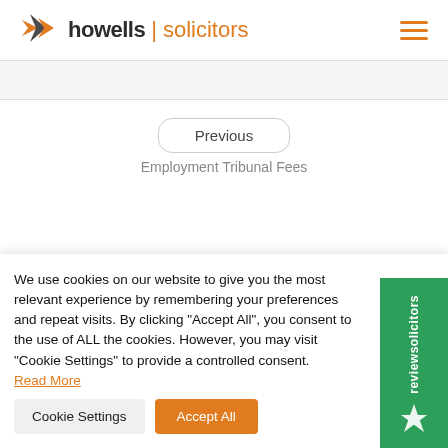[Figure (logo): Howells Solicitors logo with orange arrow/chevron mark, black 'howells', orange pipe separator, orange 'solicitors' text]
Previous
Employment Tribunal Fees
We use cookies on our website to give you the most relevant experience by remembering your preferences and repeat visits. By clicking “Accept All”, you consent to the use of ALL the cookies. However, you may visit “Cookie Settings” to provide a controlled consent. Read More
Cookie Settings
Accept All